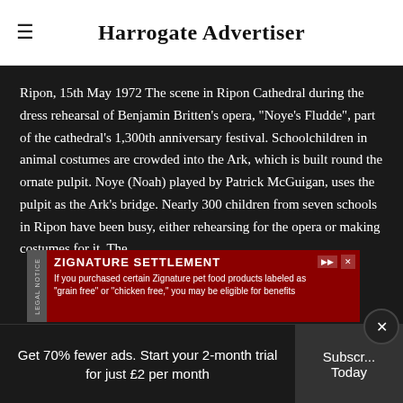Harrogate Advertiser
Ripon, 15th May 1972 The scene in Ripon Cathedral during the dress rehearsal of Benjamin Britten's opera, "Noye's Fludde", part of the cathedral's 1,300th anniversary festival. Schoolchildren in animal costumes are crowded into the Ark, which is built round the ornate pulpit. Noye (Noah) played by Patrick McGuigan, uses the pulpit as the Ark's bridge. Nearly 300 children from seven schools in Ripon have been busy, either rehearsing for the opera or making costumes for it. The Ark ha... form pupils...
[Figure (screenshot): Advertisement banner for Zignature Settlement class action lawsuit]
Get 70% fewer ads. Start your 2-month trial for just £2 per month
Subscribe Today